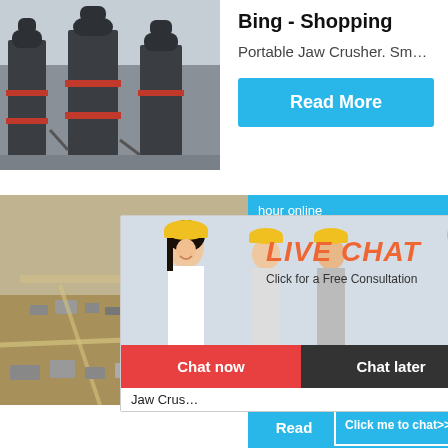[Figure (photo): Industrial grinding/milling machines (dark grey, cylindrical) in a factory setting]
Bing - Shopping
Portable Jaw Crusher. Sm…
[Figure (other): Read More button (blue)]
[Figure (photo): Aerial view of an open industrial/mining site with machinery and buildings]
[Figure (photo): Jaw crusher machine product photo on blue background panel]
hour online
or
nt
Jaw Crus…
[Figure (other): Read More button (blue, partial)]
[Figure (other): Click me to chat>> button (blue)]
Enquiry
limingjlmofen
[Figure (other): Live Chat overlay popup with workers photo, LIVE CHAT heading, Click for a Free Consultation, Chat now and Chat later buttons]